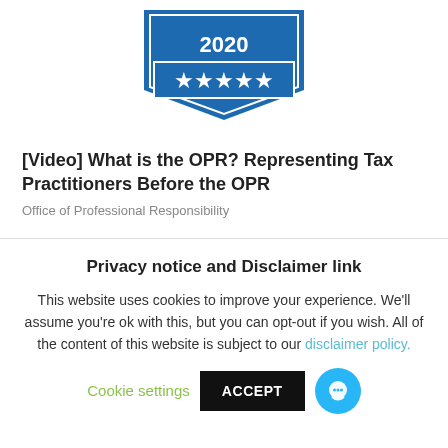[Figure (logo): Blue ribbon/badge with '2020' text and five white stars on a blue banner background, partially cropped at top]
[Video] What is the OPR? Representing Tax Practitioners Before the OPR
Office of Professional Responsibility
Privacy notice and Disclaimer link
This website uses cookies to improve your experience. We'll assume you're ok with this, but you can opt-out if you wish. All of the content of this website is subject to our disclaimer policy.
Cookie settings  ACCEPT